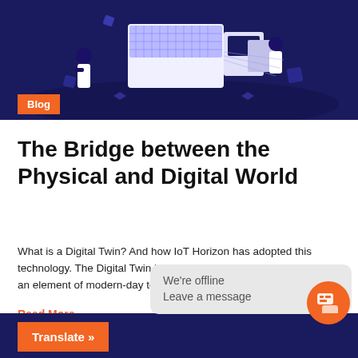[Figure (illustration): Hero illustration of IoT/Digital Twin technology: isometric scene with people interacting with a futuristic computing platform on a dark navy blue background]
Blog
The Bridge between the Physical and Digital World
What is a Digital Twin? And how IoT Horizon has adopted this technology. The Digital Twin is not a new technology, it has been an element of modern-day technology since 2002. You may have…
Read More →
We're offline
Leave a message
Translate »